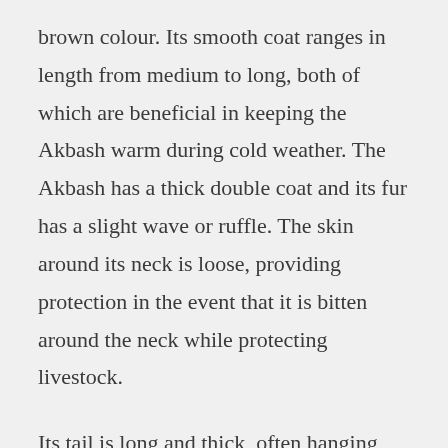brown colour. Its smooth coat ranges in length from medium to long, both of which are beneficial in keeping the Akbash warm during cold weather. The Akbash has a thick double coat and its fur has a slight wave or ruffle. The skin around its neck is loose, providing protection in the event that it is bitten around the neck while protecting livestock.
Its tail is long and thick, often hanging low while at rest and curled onto its back during periods of activity. The tail, legs, and mane are feathered in dogs with a longer coat. Its folded, low-hanging ears are set at eye level and are skilled at listening for predators on or around the property.